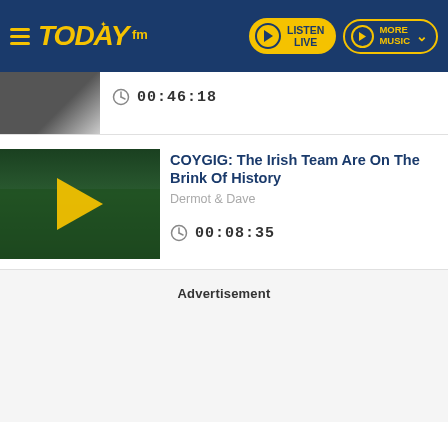Today FM - LISTEN LIVE | MORE MUSIC
[Figure (screenshot): Partially visible thumbnail image of a previous podcast item]
00:46:18
[Figure (photo): Irish women's football team lined up on pitch at night, wearing green jerseys, with a yellow play button overlay]
COYGIG: The Irish Team Are On The Brink Of History
Dermot & Dave
00:08:35
Advertisement